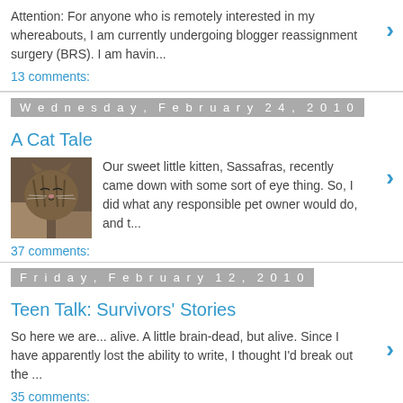Attention: For anyone who is remotely interested in my whereabouts, I am currently undergoing blogger reassignment surgery (BRS). I am havin...
13 comments:
Wednesday, February 24, 2010
A Cat Tale
[Figure (photo): A tabby cat with eyes closed, being held by a person]
Our sweet little kitten, Sassafras, recently came down with some sort of eye thing. So, I did what any responsible pet owner would do, and t...
37 comments:
Friday, February 12, 2010
Teen Talk: Survivors' Stories
So here we are... alive. A little brain-dead, but alive. Since I have apparently lost the ability to write, I thought I'd break out the ...
35 comments: